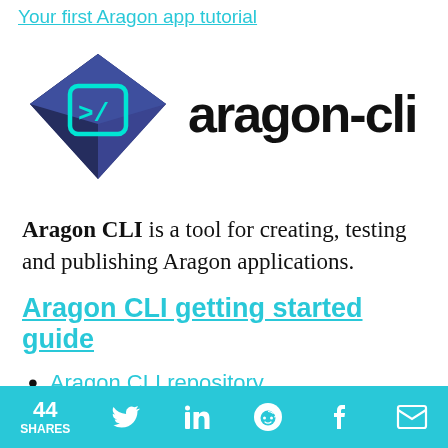Your first Aragon app tutorial
[Figure (logo): Aragon CLI logo: a dark blue 3D cube/gem shape with a cyan terminal prompt symbol on its face, next to the text 'aragon-cli' in bold black sans-serif]
Aragon CLI is a tool for creating, testing and publishing Aragon applications.
Aragon CLI getting started guide
Aragon CLI repository
44 SHARES